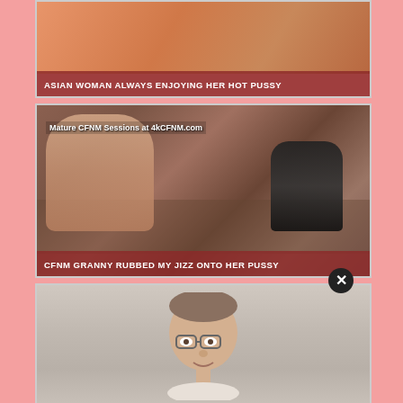[Figure (photo): Thumbnail image with pink background and label bar reading 'ASIAN WOMAN ALWAYS ENJOYING HER HOT PUSSY']
[Figure (photo): Thumbnail image with overlay text 'Mature CFNM Sessions at 4kCFNM.com' and label bar reading 'CFNM GRANNY RUBBED MY JIZZ ONTO HER PUSSY']
[Figure (photo): Third thumbnail image partially visible at bottom of page]